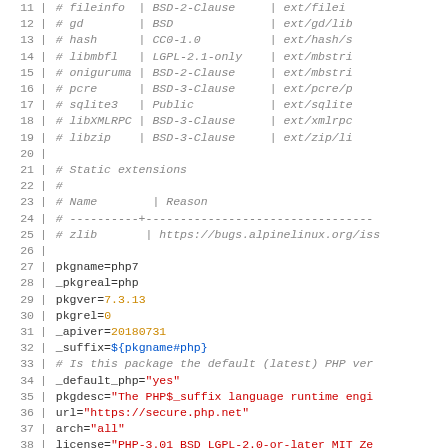[Figure (screenshot): Source code listing showing lines 11-40 of an Alpine Linux PHP7 APKBUILD file. Lines 11-25 are comments (gray italic) listing dependencies and static extensions. Lines 27-40 contain shell variable assignments with syntax highlighting: variable names in dark, string values in red, numeric values in amber, variable references in blue.]